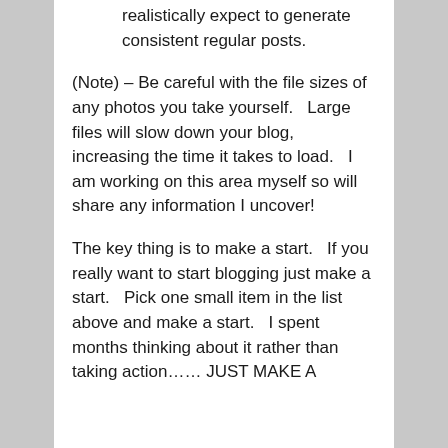realistically expect to generate consistent regular posts.
(Note) – Be careful with the file sizes of any photos you take yourself.   Large files will slow down your blog, increasing the time it takes to load.   I am working on this area myself so will share any information I uncover!
The key thing is to make a start.   If you really want to start blogging just make a start.   Pick one small item in the list above and make a start.   I spent months thinking about it rather than taking action…… JUST MAKE A START!!